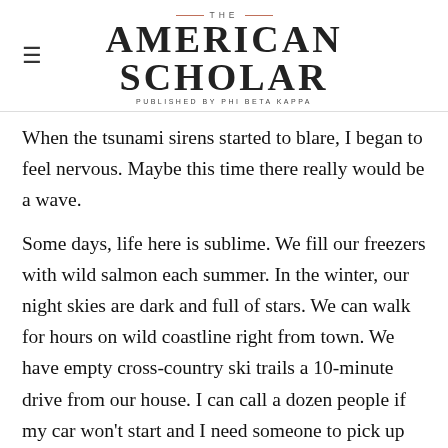THE AMERICAN SCHOLAR — PUBLISHED BY PHI BETA KAPPA
When the tsunami sirens started to blare, I began to feel nervous. Maybe this time there really would be a wave.
Some days, life here is sublime. We fill our freezers with wild salmon each summer. In the winter, our night skies are dark and full of stars. We can walk for hours on wild coastline right from town. We have empty cross-country ski trails a 10-minute drive from our house. I can call a dozen people if my car won't start and I need someone to pick up my daughters from school. My children are growing up with animal neighbors: moose,